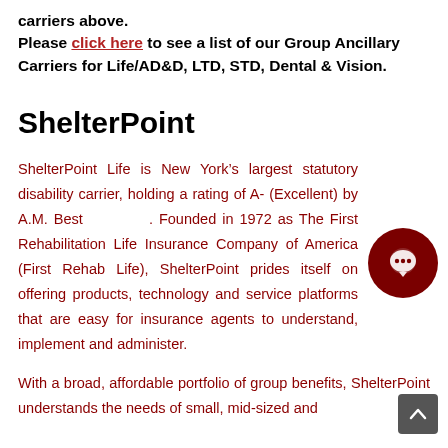carriers above.
Please click here to see a list of our Group Ancillary Carriers for Life/AD&D, LTD, STD, Dental & Vision.
ShelterPoint
ShelterPoint Life is New York’s largest statutory disability carrier, holding a rating of A- (Excellent) by A.M. Best . Founded in 1972 as The First Rehabilitation Life Insurance Company of America (First Rehab Life), ShelterPoint prides itself on offering products, technology and service platforms that are easy for insurance agents to understand, implement and administer.
With a broad, affordable portfolio of group benefits, ShelterPoint understands the needs of small, mid-sized and